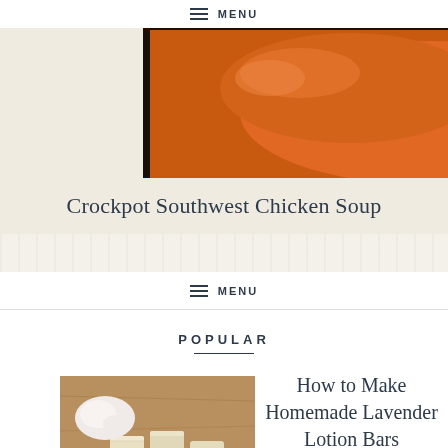MENU
[Figure (photo): Close-up photo of orange soup or liquid in a dark crockpot]
Crockpot Southwest Chicken Soup
MENU
POPULAR
[Figure (photo): Homemade lotion bars (small pale yellow cubes) on a wooden surface with cream/lotion]
How to Make Homemade Lavender Lotion Bars